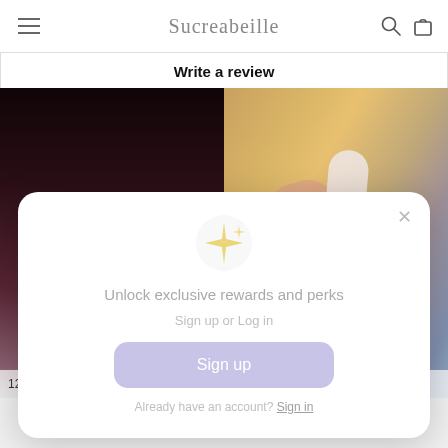Sucreabeille
Write a review
[Figure (photo): Two photo thumbnails side by side: left is a dark product photo, right is a hand holding a cosmetic product near a vanity]
[Figure (screenshot): Modal popup: sparkle icon, 'Unlock exclusive rewards and perks', 'Sign up or Log in', Sign up button, 'Already have an account? Sign in']
Unlock exclusive rewards and perks
Sign up or Log in
Sign up
Already have an account? Sign in
12/20/2021   10/21/2021